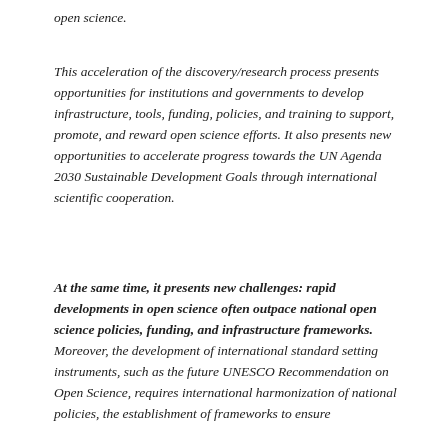open science.
This acceleration of the discovery/research process presents opportunities for institutions and governments to develop infrastructure, tools, funding, policies, and training to support, promote, and reward open science efforts. It also presents new opportunities to accelerate progress towards the UN Agenda 2030 Sustainable Development Goals through international scientific cooperation.
At the same time, it presents new challenges: rapid developments in open science often outpace national open science policies, funding, and infrastructure frameworks. Moreover, the development of international standard setting instruments, such as the future UNESCO Recommendation on Open Science, requires international harmonization of national policies, the establishment of frameworks to ensure